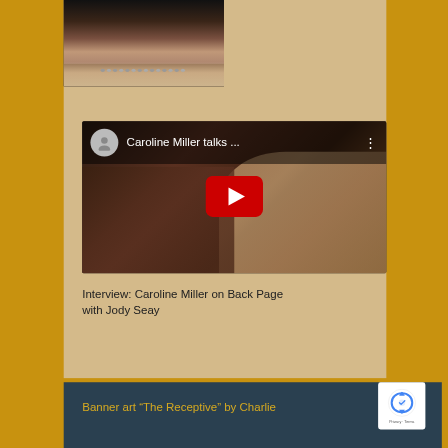[Figure (photo): Partial photo of a woman (Caroline Miller) showing neck and pearl necklace, dark background]
[Figure (screenshot): YouTube video thumbnail for 'Caroline Miller talks ...' with red play button, showing an elderly woman being interviewed]
Interview: Caroline Miller on Back Page with Jody Seay
Banner art “The Receptive” by Charlie